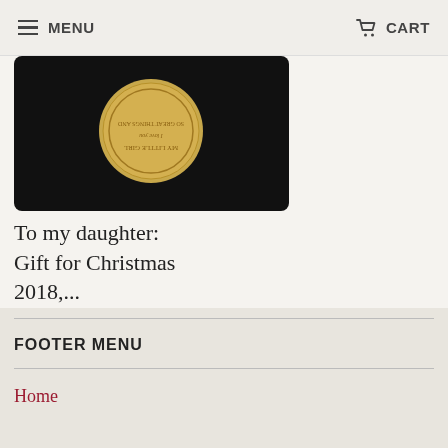MENU   CART
[Figure (photo): Product image of a coin pendant on black background with text 'MY LITTLE GIRL I love you SO GREAT THINGS AND']
To my daughter: Gift for Christmas 2018,...
from $34.95  $50.95
VIEW MORE PRODUCTS ›
FOOTER MENU
Home